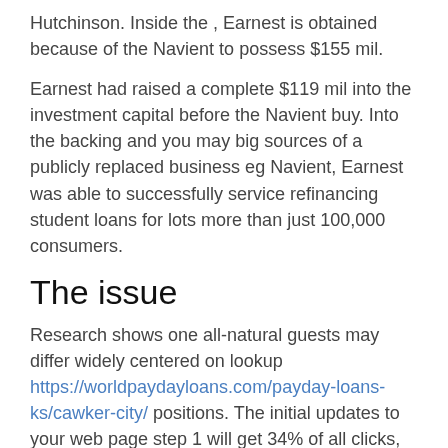Hutchinson. Inside the , Earnest is obtained because of the Navient to possess $155 mil.
Earnest had raised a complete $119 mil into the investment capital before the Navient buy. Into the backing and you may big sources of a publicly replaced business eg Navient, Earnest was able to successfully service refinancing student loans for lots more than just 100,000 consumers.
The issue
Research shows one all-natural guests may differ widely centered on lookup https://worldpaydayloans.com/payday-loans-ks/cawker-city/ positions. The initial updates to your web page step 1 will get 34% of all clicks, as tenth status earns simply over dos%. Once i become which have Earnest, they'd but really to reach page step 1